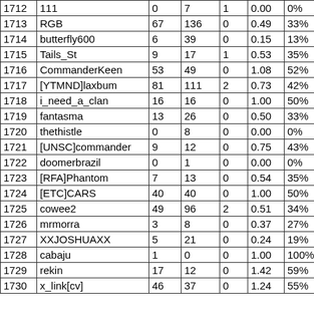| 1712 | 111 | 0 | 7 | 1 | 0.00 | 0% |
| 1713 | RGB | 67 | 136 | 0 | 0.49 | 33% |
| 1714 | butterfly600 | 6 | 39 | 0 | 0.15 | 13% |
| 1715 | Tails_St | 9 | 17 | 1 | 0.53 | 35% |
| 1716 | CommanderKeen | 53 | 49 | 0 | 1.08 | 52% |
| 1717 | [YTMND]laxbum | 81 | 111 | 2 | 0.73 | 42% |
| 1718 | i_need_a_clan | 16 | 16 | 0 | 1.00 | 50% |
| 1719 | fantasma | 13 | 26 | 0 | 0.50 | 33% |
| 1720 | thethistle | 0 | 8 | 0 | 0.00 | 0% |
| 1721 | [UNSC]commander | 9 | 12 | 0 | 0.75 | 43% |
| 1722 | doomerbrazil | 0 | 1 | 0 | 0.00 | 0% |
| 1723 | [RFA]Phantom | 7 | 13 | 0 | 0.54 | 35% |
| 1724 | [ETC]CARS | 40 | 40 | 0 | 1.00 | 50% |
| 1725 | cowee2 | 49 | 96 | 2 | 0.51 | 34% |
| 1726 | mrmorra | 3 | 8 | 0 | 0.37 | 27% |
| 1727 | XXJOSHUAXX | 5 | 21 | 0 | 0.24 | 19% |
| 1728 | cabaju | 1 | 0 | 0 | 1.00 | 100% |
| 1729 | rekin | 17 | 12 | 0 | 1.42 | 59% |
| 1730 | x_link[cv] | 46 | 37 | 0 | 1.24 | 55% |